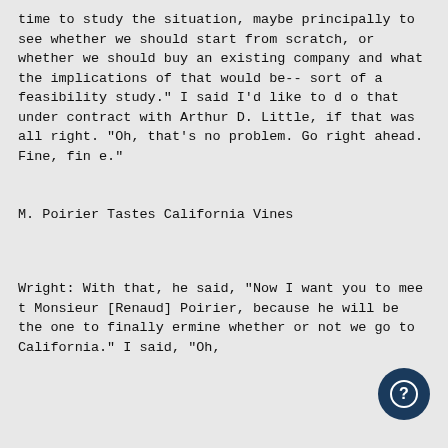time to study the situation, maybe principally to see whether
we should start from scratch, or whether we should buy an
existing company and what the implications of that would be--
sort of a feasibility study." I said I'd like to do that
under contract with Arthur D. Little, if that was all right.
"Oh, that's no problem. Go right ahead. Fine, fine."
M. Poirier Tastes California Vines
Wright: With that, he said, "Now I want you to meet Monsieur [Renaud]
Poirier, because he will be the one to finally determine
whether or not we go to California." I said, "Oh,